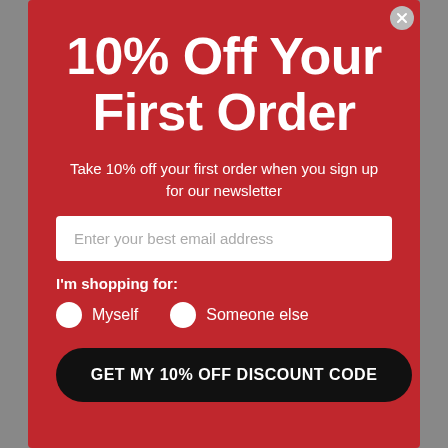10% Off Your First Order
Take 10% off your first order when you sign up for our newsletter
Enter your best email address
I'm shopping for:
Myself
Someone else
GET MY 10% OFF DISCOUNT CODE